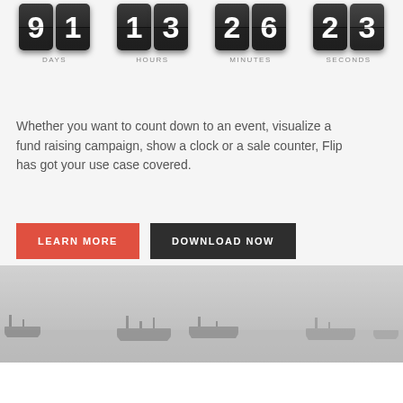[Figure (infographic): Flip countdown timer display showing dark flip-clock tiles with digits 9, 1 (DAYS), 1, 3 (HOURS), 2, 6 (MINUTES), 2, 3 (SECONDS)]
Whether you want to count down to an event, visualize a fund raising campaign, show a clock or a sale counter, Flip has got your use case covered.
[Figure (illustration): Two buttons side by side: red LEARN MORE button and dark DOWNLOAD NOW button]
[Figure (photo): Misty harbor scene with silhouettes of ships in fog, grayscale]